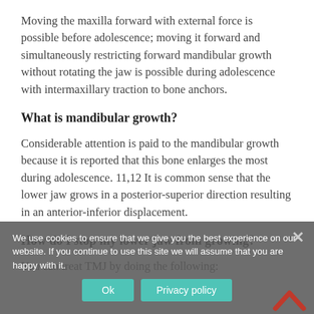Moving the maxilla forward with external force is possible before adolescence; moving it forward and simultaneously restricting forward mandibular growth without rotating the jaw is possible during adolescence with intermaxillary traction to bone anchors.
What is mandibular growth?
Considerable attention is paid to the mandibular growth because it is reported that this bone enlarges the most during adolescence. 11,12 It is common sense that the lower jaw grows in a posterior-superior direction resulting in an anterior-inferior displacement.
How do I stop my lower jaw from growing?
You can treat TMJ by doing the following: